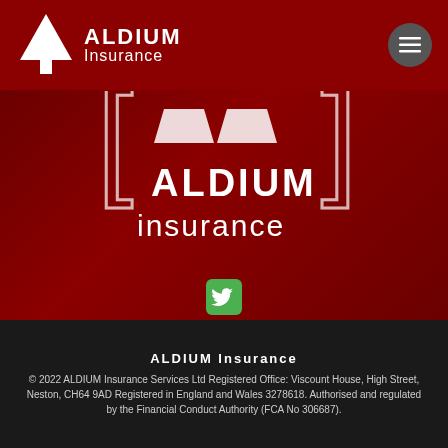ALDIUM Insurance
[Figure (logo): ALDIUM Insurance logo with triangle/tree icon and brand name on dark red background, plus hamburger menu button]
[Figure (logo): Large ALDIUM insurance logo centered on dark red hero background with bracket design and Twitter icon below]
ALDIUM Insurance © 2022 ALDIUM Insurance Services Ltd Registered Office: Viscount House, High Street, Neston, CH64 9AD Registered in England and Wales 3278618. Authorised and regulated by the Financial Conduct Authority (FCA No 306687).